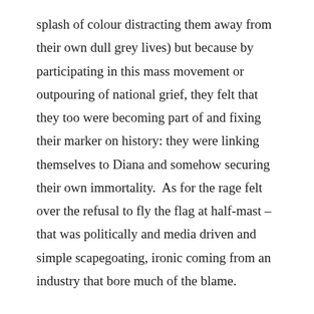splash of colour distracting them away from their own dull grey lives) but because by participating in this mass movement or outpouring of national grief, they felt that they too were becoming part of and fixing their marker on history: they were linking themselves to Diana and somehow securing their own immortality.  As for the rage felt over the refusal to fly the flag at half-mast – that was politically and media driven and simple scapegoating, ironic coming from an industry that bore much of the blame.

There was a sense of dismay as the realisation hit, that being rich, famous, and feted all over the world for her beauty and humanitarian qualities, didn't save Diana from a brutal, messy, grim, grisly senseless, unnecessary and premature death in a squalid underpass. If it